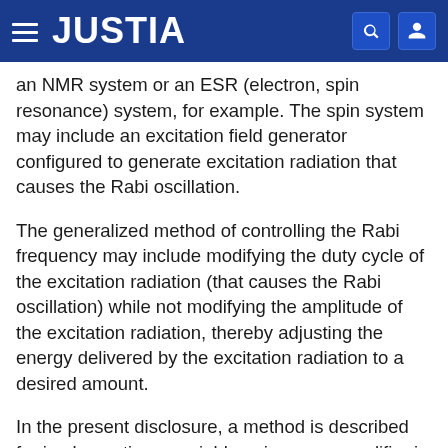JUSTIA
an NMR system or an ESR (electron, spin resonance) system, for example. The spin system may include an excitation field generator configured to generate excitation radiation that causes the Rabi oscillation.
The generalized method of controlling the Rabi frequency may include modifying the duty cycle of the excitation radiation (that causes the Rabi oscillation) while not modifying the amplitude of the excitation radiation, thereby adjusting the energy delivered by the excitation radiation to a desired amount.
In the present disclosure, a method is described for implementing a variable gain power amplifier in an NMR system, for example on-chip integrating the variable gain power amplifier in a miniaturized NMR system. The method may include modifying the duty cycle of the RF pulses generated by the NMR transmitter while not